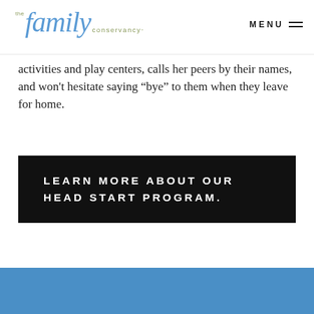the family conservancy | MENU
activities and play centers, calls her peers by their names, and won't hesitate saying “bye” to them when they leave for home.
LEARN MORE ABOUT OUR HEAD START PROGRAM.